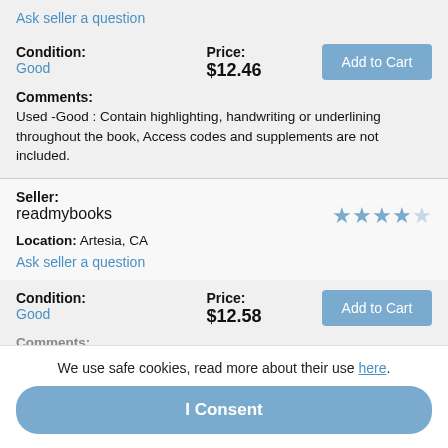Ask seller a question
Condition: Good | Price: $12.46
Comments: Used -Good : Contain highlighting, handwriting or underlining throughout the book, Access codes and supplements are not included.
Seller: readmybooks
Location: Artesia, CA
Ask seller a question
Condition: Good | Price: $12.58
Comments:
We use safe cookies, read more about their use here.
I Consent